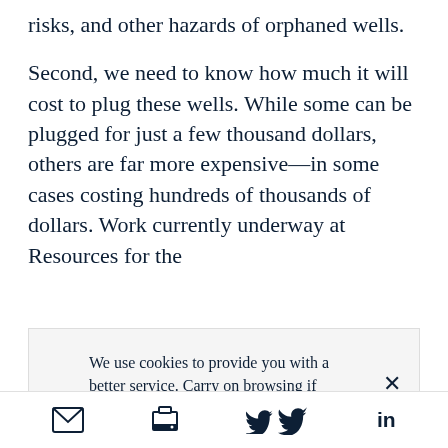risks, and other hazards of orphaned wells.
Second, we need to know how much it will cost to plug these wells. While some can be plugged for just a few thousand dollars, others are far more expensive—in some cases costing hundreds of thousands of dollars. Work currently underway at Resources for the
We use cookies to provide you with a better service. Carry on browsing if you're happy with this, or find out more.
[email] [print] [twitter] [linkedin]